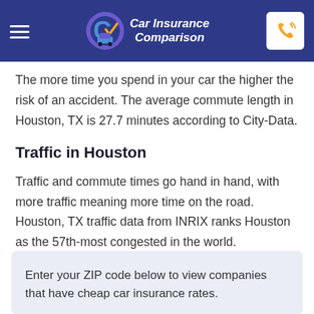Car Insurance Comparison
The more time you spend in your car the higher the risk of an accident. The average commute length in Houston, TX is 27.7 minutes according to City-Data.
Traffic in Houston
Traffic and commute times go hand in hand, with more traffic meaning more time on the road. Houston, TX traffic data from INRIX ranks Houston as the 57th-most congested in the world.
Enter your ZIP code below to view companies that have cheap car insurance rates.